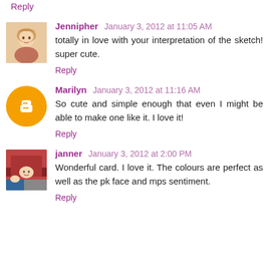Reply
Jennipher  January 3, 2012 at 11:05 AM
totally in love with your interpretation of the sketch! super cute.
Reply
Marilyn  January 3, 2012 at 11:16 AM
So cute and simple enough that even I might be able to make one like it. I love it!
Reply
janner  January 3, 2012 at 2:00 PM
Wonderful card. I love it. The colours are perfect as well as the pk face and mps sentiment.
Reply